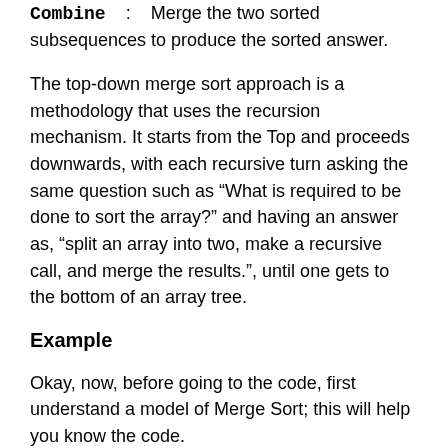Combine : Merge the two sorted subsequences to produce the sorted answer.
The top-down merge sort approach is a methodology that uses the recursion mechanism. It starts from the Top and proceeds downwards, with each recursive turn asking the same question such as “What is required to be done to sort the array?” and having an answer as, “split an array into two, make a recursive call, and merge the results.”, until one gets to the bottom of an array tree.
Example
Okay, now, before going to the code, first understand a model of Merge Sort; this will help you know the code.
Let us consider a list of integers:
43 63 93 24 15 27 21